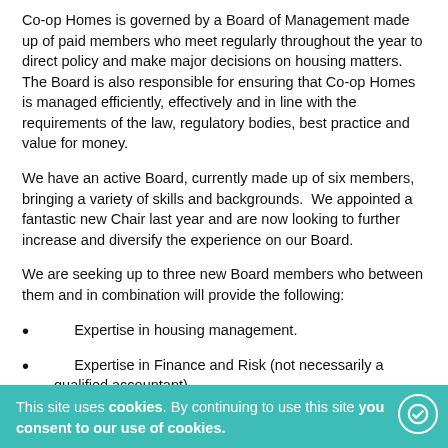Co-op Homes is governed by a Board of Management made up of paid members who meet regularly throughout the year to direct policy and make major decisions on housing matters.  The Board is also responsible for ensuring that Co-op Homes is managed efficiently, effectively and in line with the requirements of the law, regulatory bodies, best practice and value for money.
We have an active Board, currently made up of six members, bringing a variety of skills and backgrounds.  We appointed a fantastic new Chair last year and are now looking to further increase and diversify the experience on our Board.
We are seeking up to three new Board members who between them and in combination will provide the following:
Expertise in housing management.
Expertise in Finance and Risk (not necessarily a qualified accountant).
An individual who shares our values – we will welcome applications from all sections of our community and our mission and a range of skills and experience, and we will
This site uses cookies. By continuing to use this site you consent to our use of cookies.